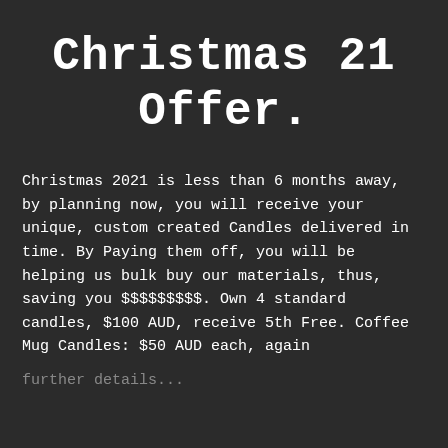Christmas 21 Offer.
Christmas 2021 is less than 6 months away, by planning now, you will receive your unique, custom created Candles delivered in time. By Paying them off, you will be helping us bulk buy our materials, thus, saving you $$$$$$$$$. Own 4 standard candles, $100 AUD, receive 5th Free. Coffee Mug Candles: $50 AUD each, again
further details...